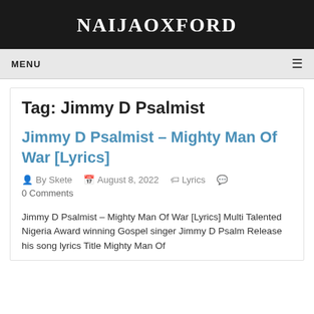NAIJAOXFORD
MENU
Tag: Jimmy D Psalmist
Jimmy D Psalmist – Mighty Man Of War [Lyrics]
By Skete   August 8, 2022   Lyrics   0 Comments
Jimmy D Psalmist – Mighty Man Of War [Lyrics] Multi Talented Nigeria Award winning Gospel singer Jimmy D Psalm Release his song lyrics Title Mighty Man Of